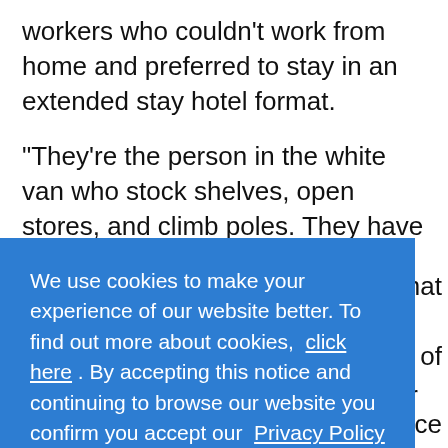workers who couldn't work from home and preferred to stay in an extended stay hotel format.
“They’re the person in the white van who stock shelves, open stores, and climb poles. They have worked throughout the pandemic and will continue to do so. So we are very confident in our ability to maintain our
We use cookies to make your experience of our website better. To find out more about cookies, click here . By accepting this notice and continuing to browse our website you confirm you accept our Privacy Policy
OK
$114... making 2021 a record year for the company